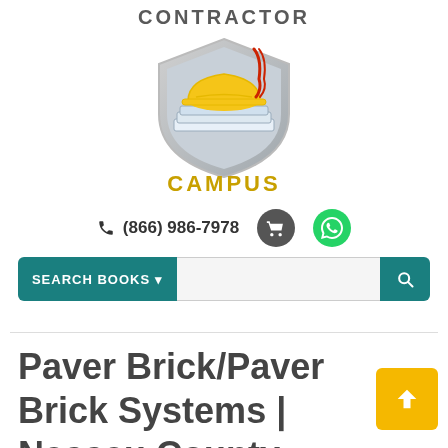[Figure (logo): Contractor Campus logo: shield with yellow hard hat and books, 'CONTRACTOR' above in gray bold, 'CAMPUS' below in gold/yellow bold]
☎ (866) 986-7978
Paver Brick/Paver Brick Systems | Nassau County (GITS©)